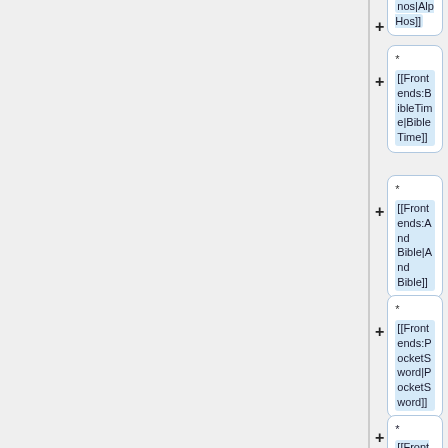* [[Frontends:AlpHos|AlpHos]]
* [[Frontends:BibleTime|BibleTime]]
* [[Frontends:And Bible|And Bible]]
* [[Frontends:PocketSword|PocketSword]]
* [[Frontends:Bishop|Bishop]]
* [[Frontends:Ezra Bible App|Ezra Bible App]]